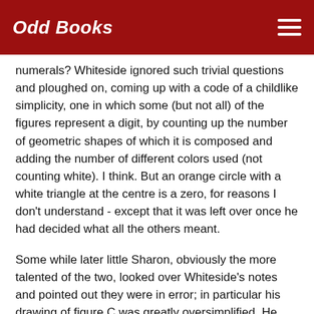Odd Books
numerals? Whiteside ignored such trivial questions and ploughed on, coming up with a code of a childlike simplicity, one in which some (but not all) of the figures represent a digit, by counting up the number of geometric shapes of which it is composed and adding the number of different colors used (not counting white). I think. But an orange circle with a white triangle at the centre is a zero, for reasons I don't understand - except that it was left over once he had decided what all the others meant.
Some while later little Sharon, obviously the more talented of the two, looked over Whiteside's notes and pointed out they were in error; in particular his drawing of figure C was greatly oversimplified. He studied her corrected version and lo! he realised it was a representation of the multiplication table for the number 4, just the sort of useful thing to be communicated to us by aliens from Outer